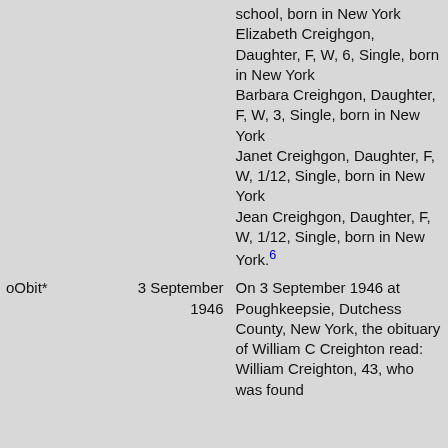school, born in New York Elizabeth Creighgon, Daughter, F, W, 6, Single, born in New York Barbara Creighgon, Daughter, F, W, 3, Single, born in New York Janet Creighgon, Daughter, F, W, 1/12, Single, born in New York Jean Creighgon, Daughter, F, W, 1/12, Single, born in New York.[6]
oObit*	3 September 1946	On 3 September 1946 at Poughkeepsie, Dutchess County, New York, the obituary of William C Creighton read: William Creighton, 43, who was found